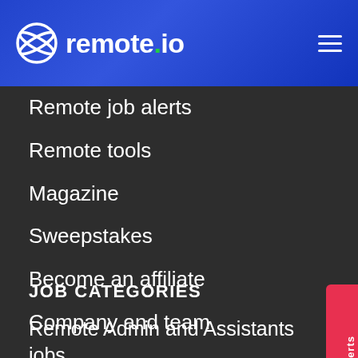remote.io
Remote job alerts
Remote tools
Magazine
Sweepstakes
Become an affiliate
Company and team
Contact
Terms of service
Privacy policy
JOB CATEGORIES
Remote Admin and Assistants jobs
Remote Blockchain and Crypto jobs
Remote Business Development jobs